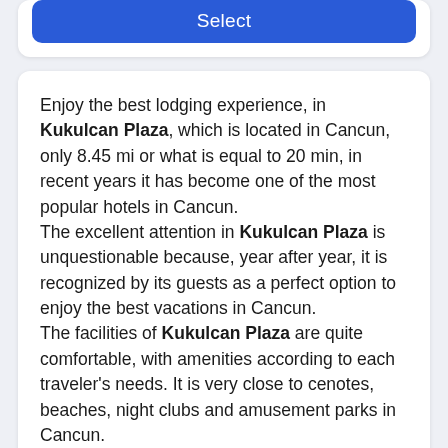[Figure (other): Blue 'Select' button at top of card]
Enjoy the best lodging experience, in Kukulcan Plaza, which is located in Cancun, only 8.45 mi or what is equal to 20 min, in recent years it has become one of the most popular hotels in Cancun.
The excellent attention in Kukulcan Plaza is unquestionable because, year after year, it is recognized by its guests as a perfect option to enjoy the best vacations in Cancun.
The facilities of Kukulcan Plaza are quite comfortable, with amenities according to each traveler's needs. It is very close to cenotes, beaches, night clubs and amusement parks in Cancun.
To arrive on time, the ideal is to use Cancun Airport Transportation, as our Transportation from Cancun Airport to Kukulcan Plaza, since it is located at a